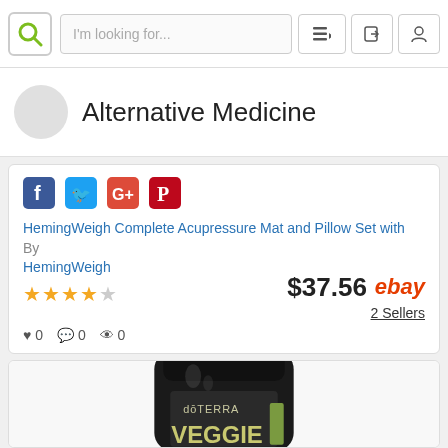[Figure (screenshot): Top navigation bar with logo, search field 'I'm looking for...', menu and user icons]
Alternative Medicine
[Figure (screenshot): Social sharing icons: Facebook, Twitter, Google+, Pinterest]
HemingWeigh Complete Acupressure Mat and Pillow Set with By HemingWeigh
$37.56  ebay  2 Sellers
♥ 0  💬 0  👁 0
[Figure (photo): Dark glass supplement bottle with black lid labeled 'doTERRA VEGGIE']